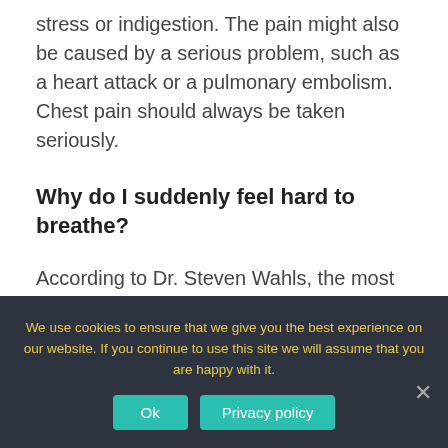stress or indigestion. The pain might also be caused by a serious problem, such as a heart attack or a pulmonary embolism. Chest pain should always be taken seriously.
Why do I suddenly feel hard to breathe?
According to Dr. Steven Wahls, the most common causes of dyspnea are asthma, heart failure, chronic obstructive pulmonary disease (COPD), interstitial lung disease, pneumonia, and psychogenic
We use cookies to ensure that we give you the best experience on our website. If you continue to use this site we will assume that you are happy with it.